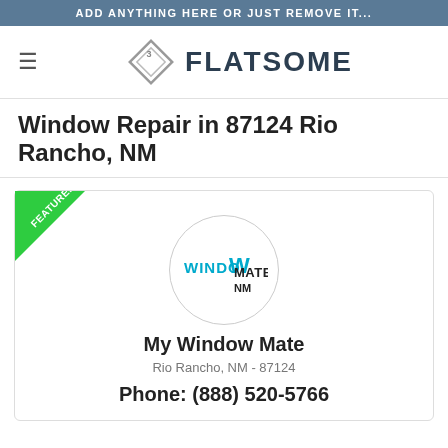ADD ANYTHING HERE OR JUST REMOVE IT...
[Figure (logo): Flatsome theme logo with diamond F icon and text FLATSOME]
Window Repair in 87124 Rio Rancho, NM
[Figure (logo): My Window Mate logo in circle - WINDOWMATE text in blue and black]
My Window Mate
Rio Rancho, NM - 87124
Phone: (888) 520-5766